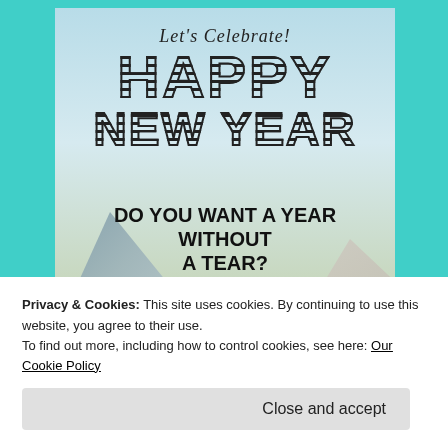[Figure (illustration): New Year greeting card with mountain/sky background, showing 'Let's Celebrate! HAPPY NEW YEAR' in striped block letters, 'DO YOU WANT A YEAR WITHOUT A TEAR?' and 'NEW YEAR!' in bold italic]
Privacy & Cookies: This site uses cookies. By continuing to use this website, you agree to their use.
To find out more, including how to control cookies, see here: Our Cookie Policy
Close and accept